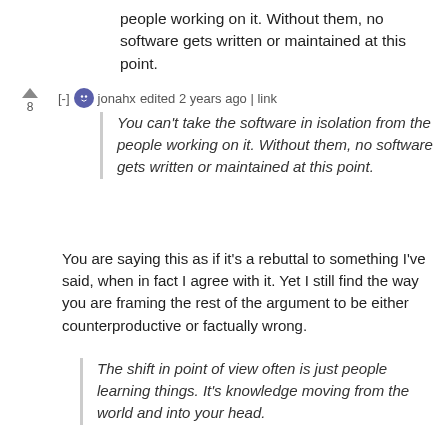people working on it. Without them, no software gets written or maintained at this point.
[-] jonahx edited 2 years ago | link  (vote: 8)
You can't take the software in isolation from the people working on it. Without them, no software gets written or maintained at this point.
You are saying this as if it's a rebuttal to something I've said, when in fact I agree with it. Yet I still find the way you are framing the rest of the argument to be either counterproductive or factually wrong.
The shift in point of view often is just people learning things. It's knowledge moving from the world and into your head.
Sure, I guess you can say it like that. I don't what to make of it until I see what you plan to do with this framing…
To understand the code that uses that shift in perspective, you have to be able to teach that perspective...